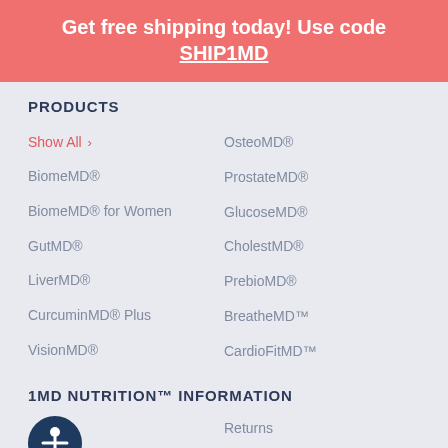Get free shipping today! Use code SHIP1MD
PRODUCTS
Show All
OsteoMD®
BiomeMD®
ProstateMD®
BiomeMD® for Women
GlucoseMD®
GutMD®
CholestMD®
LiverMD®
PrebioMD®
CurcuminMD® Plus
BreatheMD™
VisionMD®
CardioFitMD™
1MD NUTRITION™ INFORMATION
[Figure (logo): Accessibility icon — white person figure inside dark navy circle]
Charity Partner
Returns
Partner With Us